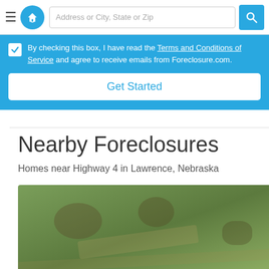Get Complete Address Lawrence, NE 68957
By checking this box, I have read the Terms and Conditions of Service and agree to receive emails from Foreclosure.com.
Get Started
Nearby Foreclosures
Homes near Highway 4 in Lawrence, Nebraska
[Figure (photo): Aerial/satellite view of land near Road 2600, Lawrence, NE 68957]
Road 2600
Lawrence, NE 68957
Beds | Baths | — 
Sq. Ft.
Get NEW Listings
Millions of alerts daily.
Signup H...
No Thanks